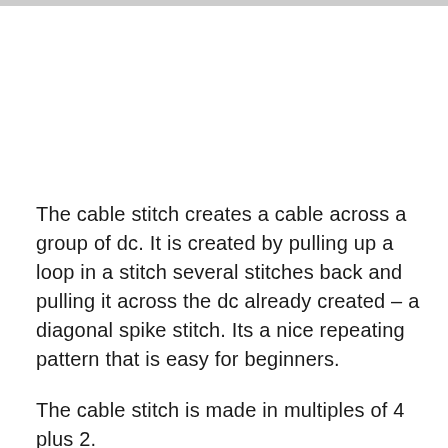The cable stitch creates a cable across a group of dc. It is created by pulling up a loop in a stitch several stitches back and pulling it across the dc already created – a diagonal spike stitch. Its a nice repeating pattern that is easy for beginners.
The cable stitch is made in multiples of 4 plus 2.